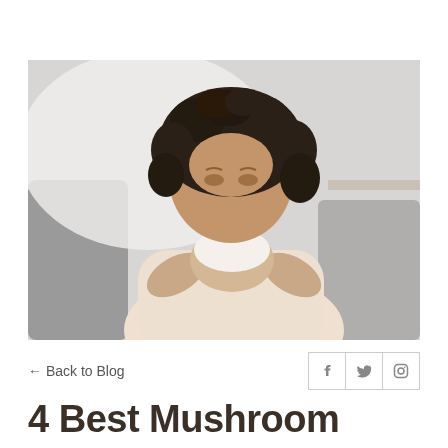[Figure (photo): A young woman with curly dark hair blowing her nose into a tissue, seated on a grey couch in a bright living room setting.]
← Back to Blog
4 Best Mushroom